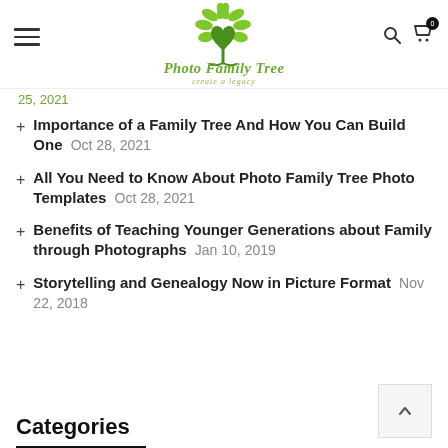Photo Family Tree — create a legacy
25, 2021 (partial date, cropped)
Importance of a Family Tree And How You Can Build One Oct 28, 2021
All You Need to Know About Photo Family Tree Photo Templates Oct 28, 2021
Benefits of Teaching Younger Generations about Family through Photographs Jan 10, 2019
Storytelling and Genealogy Now in Picture Format Nov 22, 2018
Categories